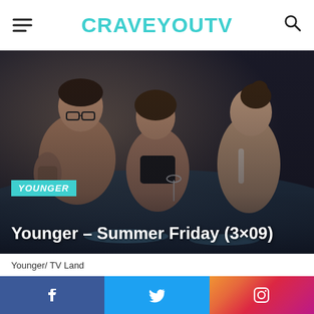CRAVEYOUTV
[Figure (photo): Three people socializing in a swimming pool. A tattooed man with glasses stands on the left, two women face each other in the center and right. The scene is a pool party setting.]
Younger – Summer Friday (3×09)
Younger/ TV Land
[Figure (infographic): Social media sharing bar with Facebook (blue), Twitter (light blue), and Instagram (gradient orange-to-purple) icons.]